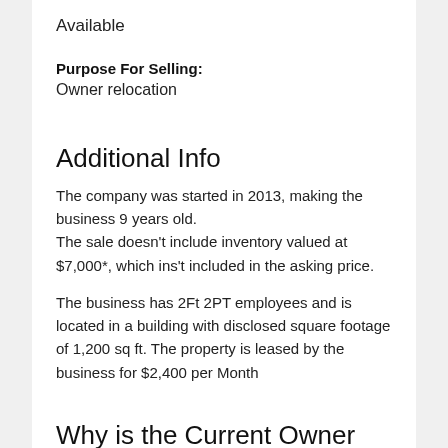Available
Purpose For Selling:
Owner relocation
Additional Info
The company was started in 2013, making the business 9 years old.
The sale doesn't include inventory valued at $7,000*, which ins't included in the asking price.
The business has 2Ft 2PT employees and is located in a building with disclosed square footage of 1,200 sq ft. The property is leased by the business for $2,400 per Month
Why is the Current Owner Selling The Business?